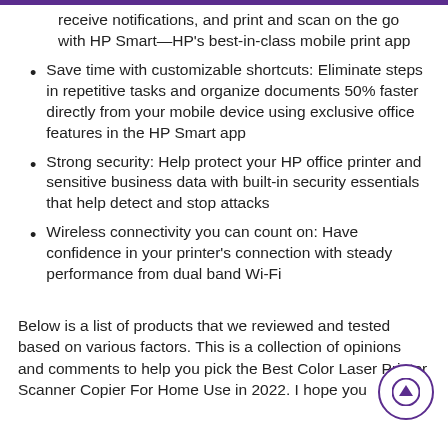receive notifications, and print and scan on the go with HP Smart—HP's best-in-class mobile print app
Save time with customizable shortcuts: Eliminate steps in repetitive tasks and organize documents 50% faster directly from your mobile device using exclusive office features in the HP Smart app
Strong security: Help protect your HP office printer and sensitive business data with built-in security essentials that help detect and stop attacks
Wireless connectivity you can count on: Have confidence in your printer's connection with steady performance from dual band Wi-Fi
Below is a list of products that we reviewed and tested based on various factors. This is a collection of opinions and comments to help you pick the Best Color Laser Printer Scanner Copier For Home Use in 2022. I hope you